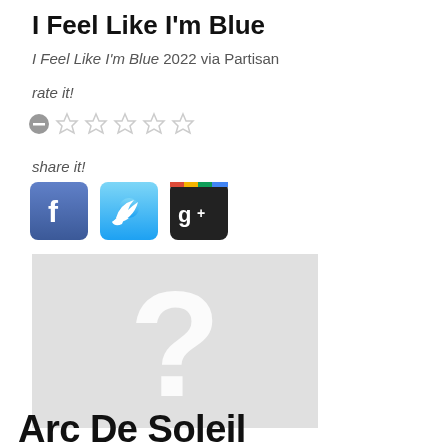I Feel Like I'm Blue
I Feel Like I'm Blue 2022 via Partisan
rate it!
[Figure (other): Star rating widget: minus button followed by 5 empty grey stars]
share it!
[Figure (other): Three social sharing buttons: Facebook (blue with 'f'), Twitter (light blue with bird), Google+ (dark with 'g+')]
[Figure (other): Album art placeholder: light grey rectangle with large white question mark in center]
Arc De Soleil